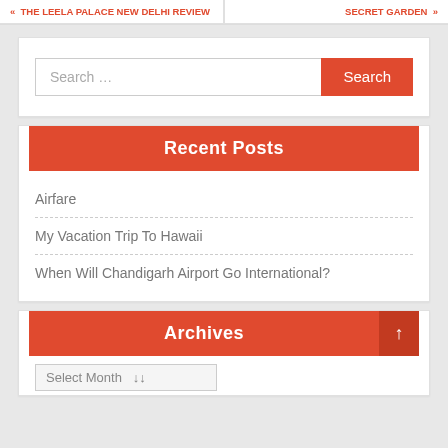« THE LEELA PALACE NEW DELHI REVIEW | SECRET GARDEN »
Search ...
Recent Posts
Airfare
My Vacation Trip To Hawaii
When Will Chandigarh Airport Go International?
Archives
Select Month